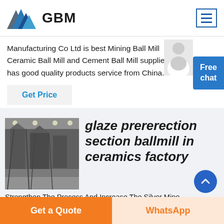[Figure (logo): GBM logo with blue mountain/arrow graphic and bold GBM text]
Manufacturing Co Ltd is best Mining Ball Mill Ceramic Ball Mill and Cement Ball Mill supplier we has good quality products service from China.
Get Price
[Figure (photo): Industrial facility interior showing ball mill or cement processing equipment with large silos and dusty floor]
glaze prererection section ballmill in ceramics factory
Strengthen The Process And Increase The Silver Mine
Get a Quote
WhatsApp